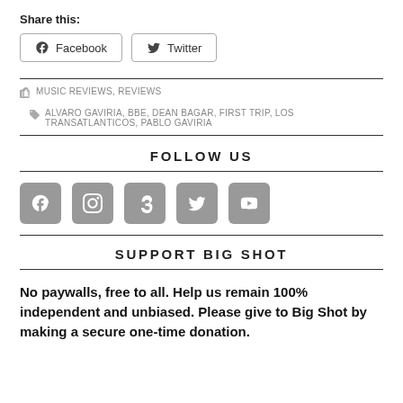Share this:
[Figure (other): Share buttons for Facebook and Twitter]
MUSIC REVIEWS, REVIEWS   ALVARO GAVIRIA, BBE, DEAN BAGAR, FIRST TRIP, LOS TRANSATLANTICOS, PABLO GAVIRIA
FOLLOW US
[Figure (other): Social media icon buttons: Facebook, Instagram, Tumblr, Twitter, YouTube]
SUPPORT BIG SHOT
No paywalls, free to all. Help us remain 100% independent and unbiased. Please give to Big Shot by making a secure one-time donation.